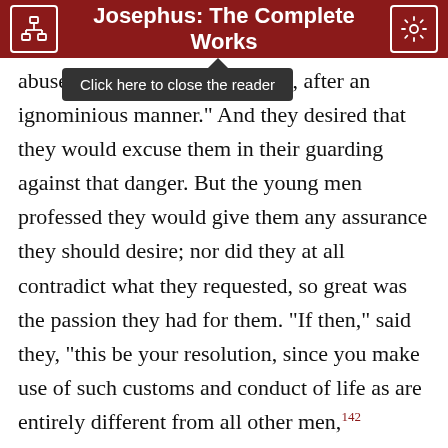Josephus: The Complete Works
abuse us, and treat us after an ignominious manner." And they desired that they would excuse them in their guarding against that danger. But the young men professed they would give them any assurance they should desire; nor did they at all contradict what they requested, so great was the passion they had for them. "If then," said they, "this be your resolution, since you make use of such customs and conduct of life as are entirely different from all other men,142 insomuch that your kinds of food are peculiar to yourselves, and your kinds of drink not common to others, it will be